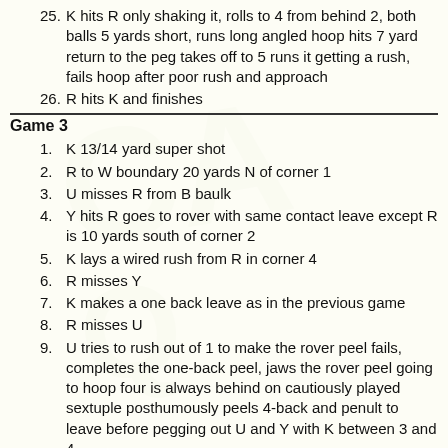25. K hits R only shaking it, rolls to 4 from behind 2, both balls 5 yards short, runs long angled hoop hits 7 yard return to the peg takes off to 5 runs it getting a rush, fails hoop after poor rush and approach
26. R hits K and finishes
Game 3
1. K 13/14 yard super shot
2. R to W boundary 20 yards N of corner 1
3. U misses R from B baulk
4. Y hits R goes to rover with same contact leave except R is 10 yards south of corner 2
5. K lays a wired rush from R in corner 4
6. R misses Y
7. K makes a one back leave as in the previous game
8. R misses U
9. U tries to rush out of 1 to make the rover peel fails, completes the one-back peel, jaws the rover peel going to hoop four is always behind on cautiously played sextuple posthumously peels 4-back and penult to leave before pegging out U and Y with K between 3 and 4
10. Y just fails to approach 1 with K behind 2 takes good